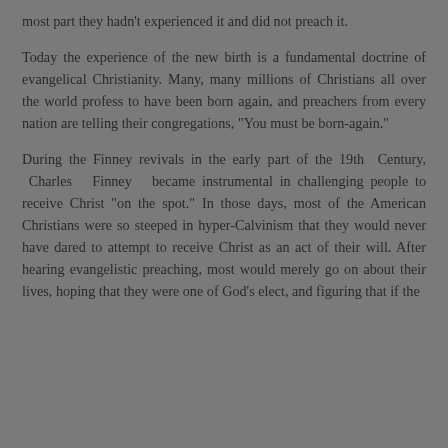most part they hadn't experienced it and did not preach it.
Today the experience of the new birth is a fundamental doctrine of evangelical Christianity. Many, many millions of Christians all over the world profess to have been born again, and preachers from every nation are telling their congregations, "You must be born-again."
During the Finney revivals in the early part of the 19th Century, Charles Finney became instrumental in challenging people to receive Christ "on the spot." In those days, most of the American Christians were so steeped in hyper-Calvinism that they would never have dared to attempt to receive Christ as an act of their will. After hearing evangelistic preaching, most would merely go on about their lives, hoping that they were one of God's elect, and figuring that if the